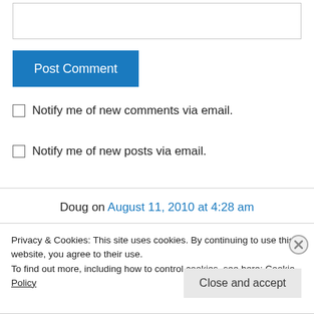[Figure (screenshot): Text input box (comment field)]
Post Comment
Notify me of new comments via email.
Notify me of new posts via email.
Doug on August 11, 2010 at 4:28 am
Maybe I'm just feeling sappy right now, but my
Privacy & Cookies: This site uses cookies. By continuing to use this website, you agree to their use.
To find out more, including how to control cookies, see here: Cookie Policy
Close and accept